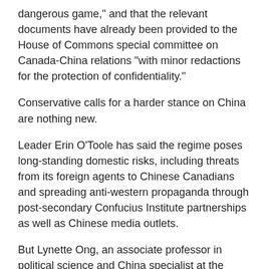dangerous game," and that the relevant documents have already been provided to the House of Commons special committee on Canada-China relations "with minor redactions for the protection of confidentiality."
Conservative calls for a harder stance on China are nothing new.
Leader Erin O'Toole has said the regime poses long-standing domestic risks, including threats from its foreign agents to Chinese Canadians and spreading anti-western propaganda through post-secondary Confucius Institute partnerships as well as Chinese media outlets.
But Lynette Ong, an associate professor in political science and China specialist at the